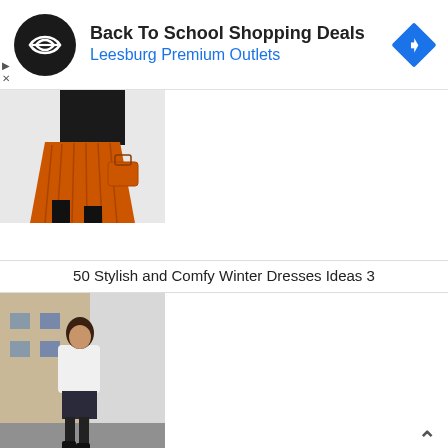[Figure (screenshot): Advertisement banner: Back To School Shopping Deals at Leesburg Premium Outlets, with a circular black logo with double-arrow symbol and a blue diamond navigation icon]
[Figure (photo): Fashion photo showing an orange pleated skirt with matching orange handbag and black boots on a snowy street]
50 Stylish and Comfy Winter Dresses Ideas 3
[Figure (photo): Fashion photo showing a young woman in a white blouse and dark mini skirt with black stockings and boots, leaning against a wall on a city street]
45 Fashionable Fall Outfits This Year 31
[Figure (photo): Partial fashion photo at bottom, appears to show food or orange-colored items, partially cropped]